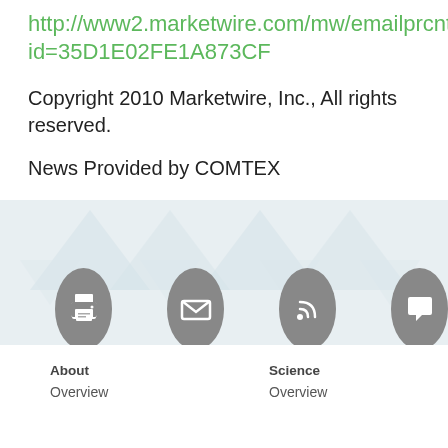http://www2.marketwire.com/mw/emailprcntct?id=35D1E02FE1A873CF
Copyright 2010 Marketwire, Inc., All rights reserved.
News Provided by COMTEX
[Figure (infographic): Footer area with light blue/grey background, watermark triangles, four grey circular icon buttons (print, email, RSS, comment), and navigation links below.]
About
Overview
Science
Overview